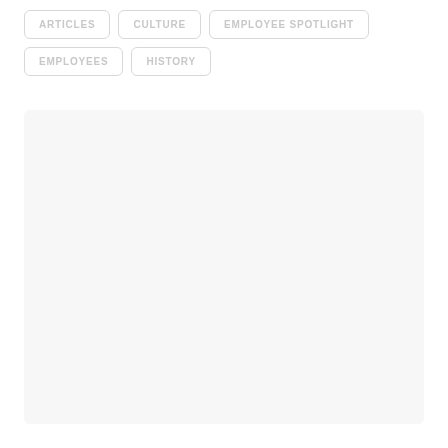ARTICLES
CULTURE
EMPLOYEE SPOTLIGHT
EMPLOYEES
HISTORY
[Figure (other): Large empty light gray content area placeholder]